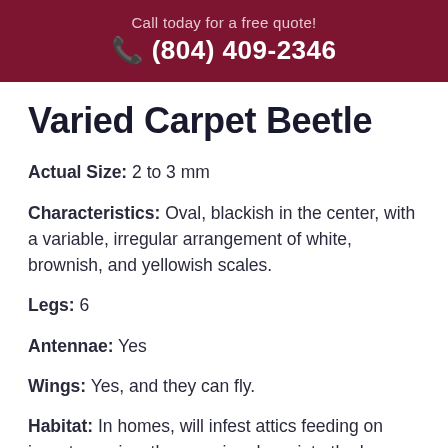Call today for a free quote! ☎ (804) 409-2346
Varied Carpet Beetle
Actual Size: 2 to 3 mm
Characteristics: Oval, blackish in the center, with a variable, irregular arrangement of white, brownish, and yellowish scales.
Legs: 6
Antennae: Yes
Wings: Yes, and they can fly.
Habitat: In homes, will infest attics feeding on insect remains, then moving down into the home